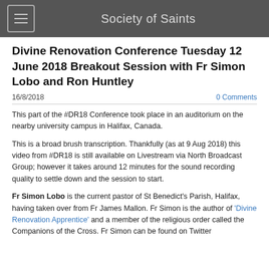Society of Saints
Divine Renovation Conference Tuesday 12 June 2018 Breakout Session with Fr Simon Lobo and Ron Huntley
16/8/2018
0 Comments
This part of the #DR18 Conference took place in an auditorium on the nearby university campus in Halifax, Canada.
This is a broad brush transcription. Thankfully (as at 9 Aug 2018) this video from #DR18 is still available on Livestream via North Broadcast Group; however it takes around 12 minutes for the sound recording quality to settle down and the session to start.
Fr Simon Lobo is the current pastor of St Benedict's Parish, Halifax, having taken over from Fr James Mallon. Fr Simon is the author of 'Divine Renovation Apprentice' and a member of the religious order called the Companions of the Cross. Fr Simon can be found on Twitter